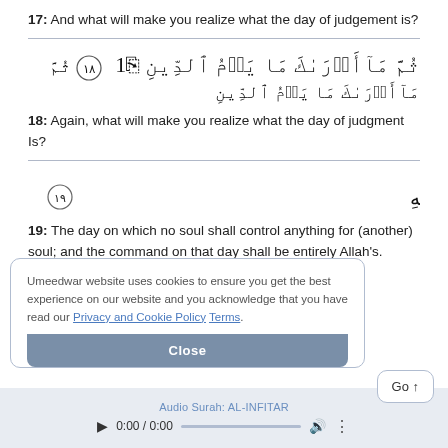17:  And what will make you realize what the day of judgement is?
[Figure (other): Arabic text of verse 18 of Surah Al-Infitar with verse number medallion: ثُمَّ مَآأَدۡرَىٰكَ مَا يَوۡمُ ٱلدِّينِ (١٨)]
18:  Again, what will make you realize what the day of judgment Is?
[Figure (other): Arabic text of verse 19 of Surah Al-Infitar with verse number medallion: يَوۡمَ لَا تَمۡلِكُ نَفۡسٌ لِّنَفۡسٍ شَيۡـًٔا وَٱلۡأَمۡرُ يَوۡمَئِذٍ لِّلَّهِ (١٩)]
19: The day on which no soul shall control anything for (another) soul; and the command on that day shall be entirely Allah's.
Umeedwar website uses cookies to ensure you get the best experience on our website and you acknowledge that you have read our Privacy and Cookie Policy Terms.
Close
Audio Surah: AL-INFITAR